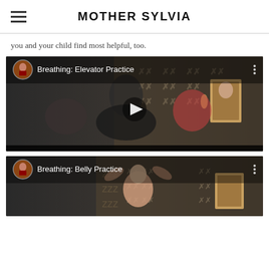MOTHER SYLVIA
you and your child find most helpful, too.
[Figure (screenshot): Video thumbnail for 'Breathing: Elevator Practice' showing a woman in black clothing sitting with three children on the floor, with decorative fabric and an icon in the background. A circular avatar and play button overlay are visible.]
[Figure (screenshot): Video thumbnail for 'Breathing: Belly Practice' showing a woman with arms raised, with decorative fabric and an icon in the background. A circular avatar overlay is visible.]